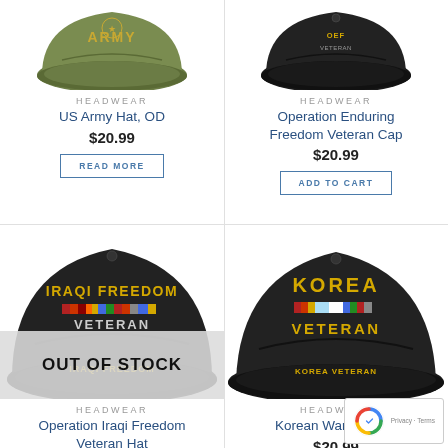[Figure (photo): US Army Hat OD (olive drab) - top portion visible]
HEADWEAR
US Army Hat, OD
$20.99
READ MORE
[Figure (photo): Operation Enduring Freedom Veteran Cap - black cap, top portion visible]
HEADWEAR
Operation Enduring Freedom Veteran Cap
$20.99
ADD TO CART
[Figure (photo): Operation Iraqi Freedom Veteran Hat - black cap with 'IRAQI FREEDOM VETERAN' text and ribbon, OUT OF STOCK overlay]
HEADWEAR
Operation Iraqi Freedom Veteran Hat
[Figure (photo): Korean War Veteran cap - black cap with 'KOREA VETERAN' in yellow letters]
HEADWEAR
Korean War Veteran
$20.99